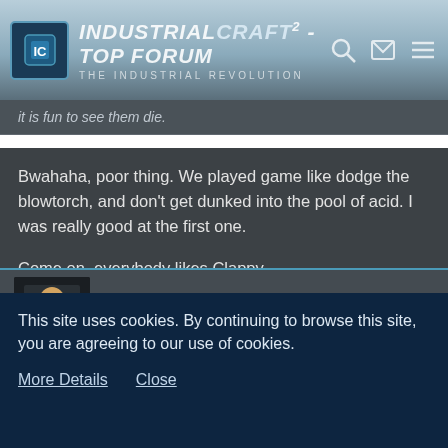IndustrialCraft² - Top Forum — The Industrial Revolution
it is fun to see them die.
Bwahaha, poor thing. We played game like dodge the blowtorch, and don't get dunked into the pool of acid. I was really good at the first one.

Come on, everybody likes Clappy.
Pyrolusite
"GUI Fanatic"
May 17th 2015
This site uses cookies. By continuing to browse this site, you are agreeing to our use of cookies.
More Details   Close